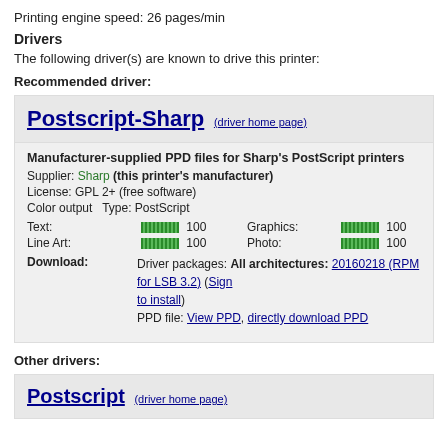Printing engine speed: 26 pages/min
Drivers
The following driver(s) are known to drive this printer:
Recommended driver:
Postscript-Sharp (driver home page)
Manufacturer-supplied PPD files for Sharp's PostScript printers
Supplier: Sharp (this printer's manufacturer)
License: GPL 2+ (free software)
Color output   Type: PostScript
Text: [bar] 100   Graphics: [bar] 100
Line Art: [bar] 100   Photo: [bar] 100
Download: Driver packages: All architectures: 20160218 (RPM for LSB 3.2) (Sign... to install)
PPD file: View PPD, directly download PPD
Other drivers:
Postscript (driver home page)